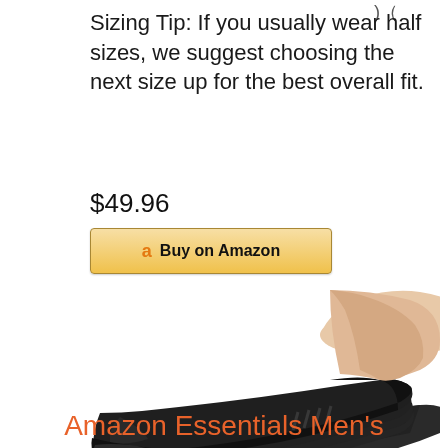Sizing Tip: If you usually wear half sizes, we suggest choosing the next size up for the best overall fit.
$49.96
Buy on Amazon
[Figure (photo): Multiple black no-show athletic socks fanned out, showing the toe, heel, and side profile of several pairs stacked together]
Amazon Essentials Men's